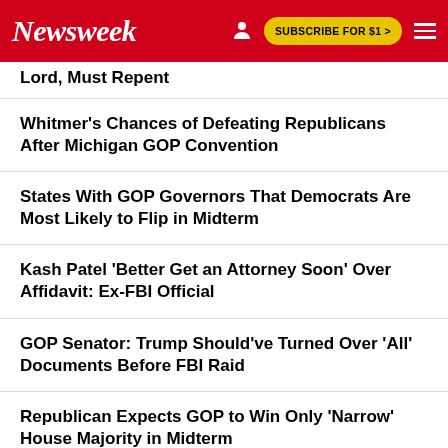Newsweek | SUBSCRIBE FOR $1 >
Lord, Must Repent
Whitmer's Chances of Defeating Republicans After Michigan GOP Convention
States With GOP Governors That Democrats Are Most Likely to Flip in Midterm
Kash Patel 'Better Get an Attorney Soon' Over Affidavit: Ex-FBI Official
GOP Senator: Trump Should've Turned Over 'All' Documents Before FBI Raid
Republican Expects GOP to Win Only 'Narrow' House Majority in Midterm
EDITOR'S PICK